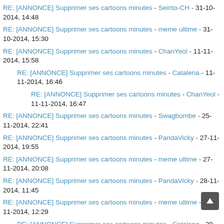RE: [ANNONCE] Supprimer ses cartoons minutes - Seirito-CH - 31-10-2014, 14:48
RE: [ANNONCE] Supprimer ses cartoons minutes - meme ultime - 31-10-2014, 15:30
RE: [ANNONCE] Supprimer ses cartoons minutes - ChanYeol - 11-11-2014, 15:58
RE: [ANNONCE] Supprimer ses cartoons minutes - Catalena - 11-11-2014, 16:46
RE: [ANNONCE] Supprimer ses cartoons minutes - ChanYeol - 11-11-2014, 16:47
RE: [ANNONCE] Supprimer ses cartoons minutes - Swagbombe - 25-11-2014, 22:41
RE: [ANNONCE] Supprimer ses cartoons minutes - PandaVicky - 27-11-2014, 19:55
RE: [ANNONCE] Supprimer ses cartoons minutes - meme ultime - 27-11-2014, 20:08
RE: [ANNONCE] Supprimer ses cartoons minutes - PandaVicky - 28-11-2014, 11:45
RE: [ANNONCE] Supprimer ses cartoons minutes - meme ultime - 29-11-2014, 12:29
RE: [ANNONCE] Supprimer ses cartoons minutes - Catalena - 29-11-2014, 20:37
RE: [ANNONCE] Supprimer ses cartoons minutes - Garnia - 30-11-...